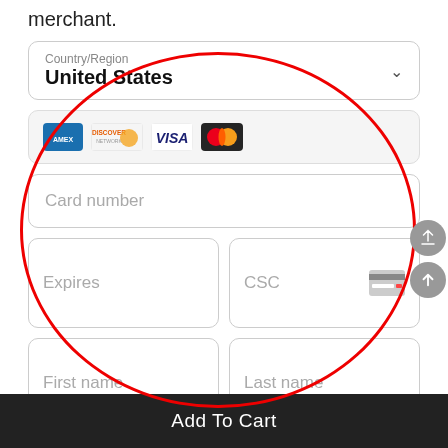merchant.
Country/Region
United States
[Figure (other): Payment card logos: American Express (blue), Discover (orange), Visa (blue), Mastercard (red/orange)]
Card number
Expires
CSC
First name
Last name
Add To Cart